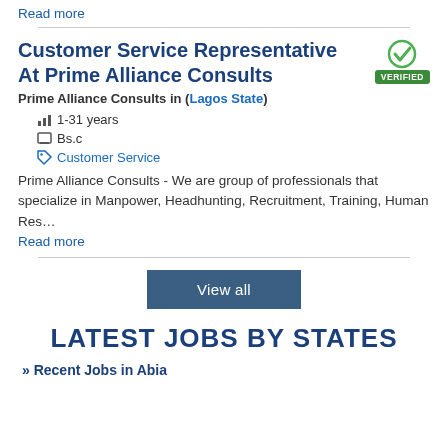Read more
Customer Service Representative At Prime Alliance Consults
Prime Alliance Consults in (Lagos State)
1-31 years
Bs.c
Customer Service
Prime Alliance Consults - We are group of professionals that specialize in Manpower, Headhunting, Recruitment, Training, Human Res...
Read more
LATEST JOBS BY STATES
» Recent Jobs in Abia